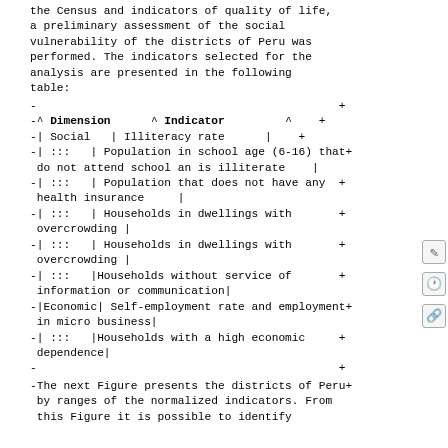the Census and indicators of quality of life, a preliminary assessment of the social vulnerability of the districts of Peru was performed. The indicators selected for the analysis are presented in the following table:
| Dimension | Indicator |
| --- | --- |
| Social | Illiteracy rate |
| ::: | Population in school age (6-16) that do not attend school an is illiterate |
| ::: | Population that does not have any health insurance |
| ::: | Households in dwellings with overcrowding |
| ::: | Households in dwellings with overcrowding |
| ::: | Households without service of information or communication |
| Economic | Self-employment rate and employment in micro business |
| ::: | Households with a high economic dependence |
The next Figure presents the districts of Peru by ranges of the normalized indicators. From this Figure it is possible to identify